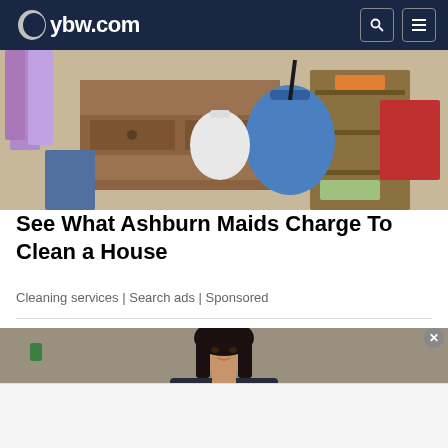ybw.com
[Figure (photo): Messy bedroom closet with clothes, bags, and drawers open]
See What Ashburn Maids Charge To Clean a House
Cleaning services | Search ads | Sponsored
[Figure (photo): Woman with dark hair against blurred background]